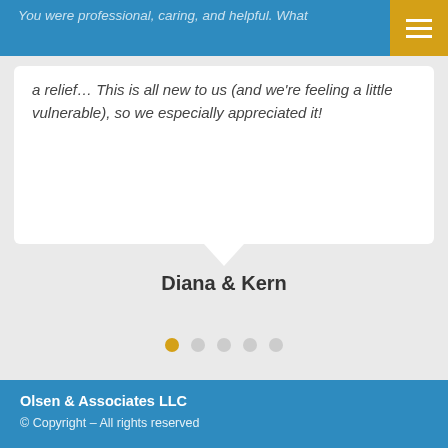You were professional, caring, and helpful. What a relief… This is all new to us (and we're feeling a little vulnerable), so we especially appreciated it!
Diana & Kern
Olsen & Associates LLC
© Copyright – All rights reserved